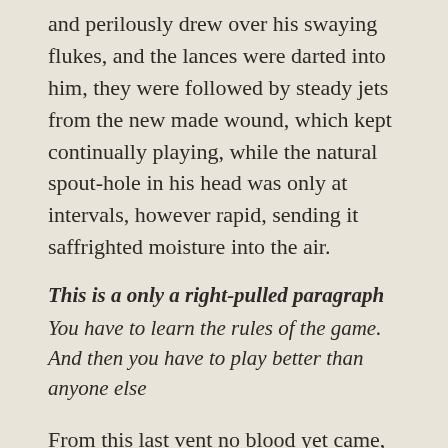and perilously drew over his swaying flukes, and the lances were darted into him, they were followed by steady jets from the new made wound, which kept continually playing, while the natural spout-hole in his head was only at intervals, however rapid, sending it saffrighted moisture into the air.
This is a only a right-pulled paragraph
You have to learn the rules of the game. And then you have to play better than anyone else
From this last vent no blood yet came, because no vital part of him had thus far been struck. His life, as they significantly call it, was untouched. As the boats now more closely surrounded him, the whole upper part of his